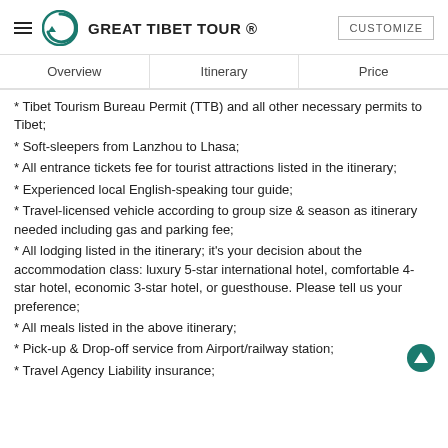GREAT TIBET TOUR ®
Overview | Itinerary | Price
* Tibet Tourism Bureau Permit (TTB) and all other necessary permits to Tibet;
* Soft-sleepers from Lanzhou to Lhasa;
* All entrance tickets fee for tourist attractions listed in the itinerary;
* Experienced local English-speaking tour guide;
* Travel-licensed vehicle according to group size & season as itinerary needed including gas and parking fee;
* All lodging listed in the itinerary; it's your decision about the accommodation class: luxury 5-star international hotel, comfortable 4-star hotel, economic 3-star hotel, or guesthouse. Please tell us your preference;
* All meals listed in the above itinerary;
* Pick-up & Drop-off service from Airport/railway station;
* Travel Agency Liability insurance;